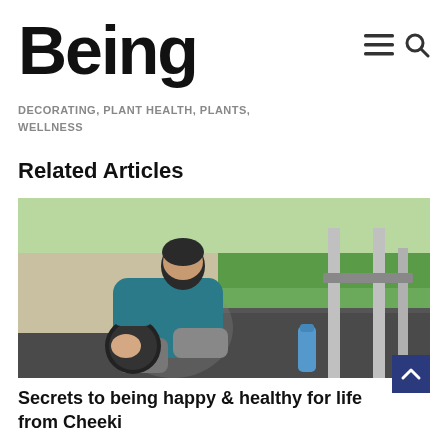Being
DECORATING, PLANT HEALTH, PLANTS, WELLNESS
Related Articles
[Figure (photo): Woman in blue athletic jacket sitting on ground at outdoor fitness area, holding a medicine ball, with a water bottle nearby and metal exercise bars in background]
Secrets to being happy & healthy for life from Cheeki